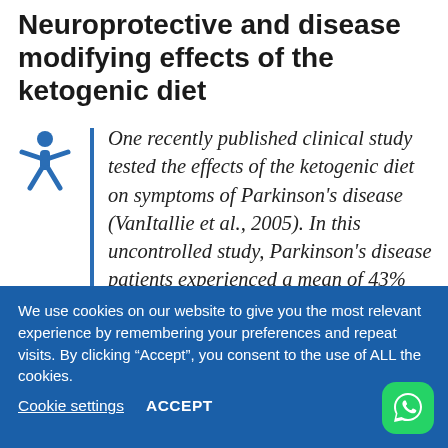Neuroprotective and disease modifying effects of the ketogenic diet
One recently published clinical study tested the effects of the ketogenic diet on symptoms of Parkinson's disease (VanItallie et al., 2005). In this uncontrolled study, Parkinson's disease patients experienced a mean of 43% reduction in Unified Parkinson's Disease Rating Scale scores after...
We use cookies on our website to give you the most relevant experience by remembering your preferences and repeat visits. By clicking "Accept", you consent to the use of ALL the cookies.
Cookie settings   ACCEPT